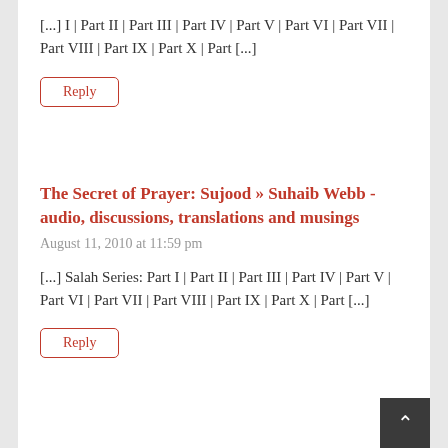[...] I | Part II | Part III | Part IV | Part V | Part VI | Part VII | Part VIII | Part IX | Part X | Part [...]
Reply
The Secret of Prayer: Sujood » Suhaib Webb - audio, discussions, translations and musings
August 11, 2010 at 11:59 pm
[...] Salah Series: Part I | Part II | Part III | Part IV | Part V | Part VI | Part VII | Part VIII | Part IX | Part X | Part [...]
Reply